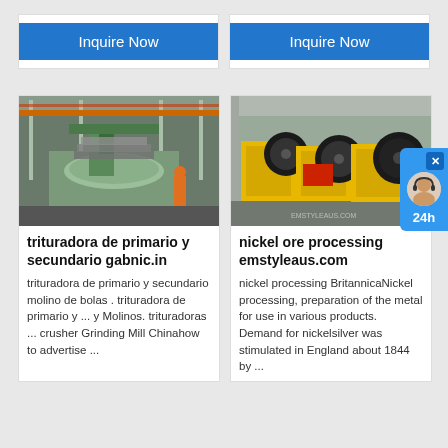[Figure (screenshot): Two Inquire Now buttons (blue) at the top of the page, one in each column card]
[Figure (photo): Industrial heavy milling/turning machine in a factory setting, green machine with large rotary table]
trituradora de primario y secundario gabnic.in
trituradora de primario y secundario molino de bolas . trituradora de primario y ... y Molinos. trituradoras ... crusher Grinding Mill Chinahow to advertise ...
[Figure (photo): Yellow jaw crusher machines lined up in a warehouse/factory setting]
nickel ore processing emstyleaus.com
nickel processing BritannicaNickel processing, preparation of the metal for use in various products. Demand for nickelsilver was stimulated in England about 1844 by ...